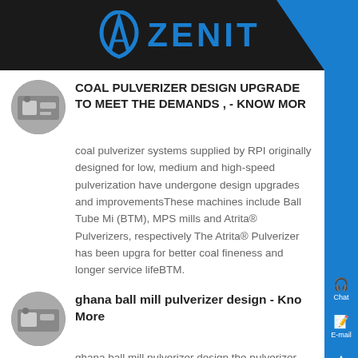ZENIT
COAL PULVERIZER DESIGN UPGRADE TO MEET THE DEMANDS , - Know More
coal pulverizer systems supplied by RPI originally designed for low, medium and high-speed pulverization have undergone design upgrades and improvementsThese machines include Ball Tube Mi (BTM), MPS mills and Atrita® Pulverizers, respectively The Atrita® Pulverizer has been upgra for better coal fineness and longer service lifeBTM.
ghana ball mill pulverizer design - Know More
ghana ball mill pulverizer design the pulverizer syst